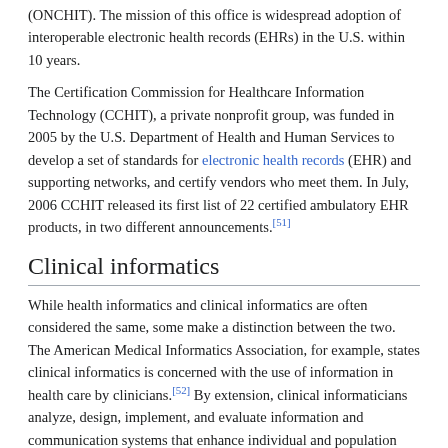(ONCHIT). The mission of this office is widespread adoption of interoperable electronic health records (EHRs) in the U.S. within 10 years.
The Certification Commission for Healthcare Information Technology (CCHIT), a private nonprofit group, was funded in 2005 by the U.S. Department of Health and Human Services to develop a set of standards for electronic health records (EHR) and supporting networks, and certify vendors who meet them. In July, 2006 CCHIT released its first list of 22 certified ambulatory EHR products, in two different announcements.[51]
Clinical informatics
While health informatics and clinical informatics are often considered the same, some make a distinction between the two. The American Medical Informatics Association, for example, states clinical informatics is concerned with the use of information in health care by clinicians.[52] By extension, clinical informaticians analyze, design, implement, and evaluate information and communication systems that enhance individual and population health outcomes, improve patient care, and strengthen the clinician-patient relationship.
Clinical informaticians use their knowledge of patient care combined with their understanding of informatics concepts, methods, and health informatics tools to:
assess information and knowledge needs of health care professionals